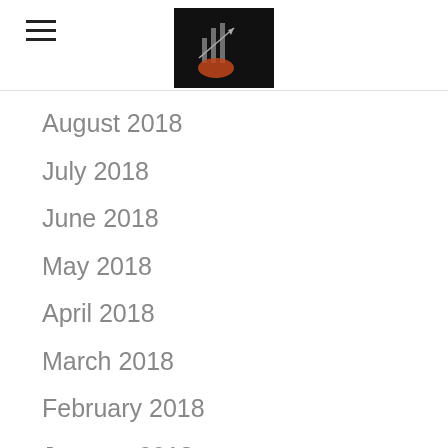[hamburger menu icon] [logo]
August 2018
July 2018
June 2018
May 2018
April 2018
March 2018
February 2018
January 2018
December 2017
November 2017
October 2017
September 2017
August 2017
July 2017
June 2017
May 2017
April 2017
March 2017